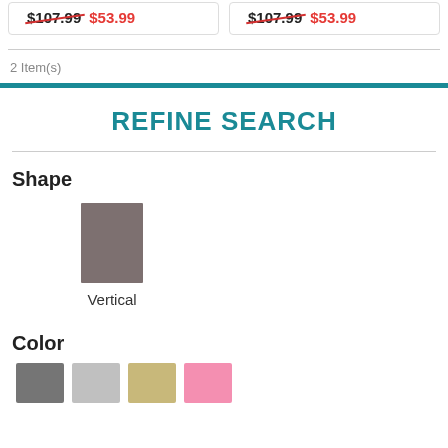$107.99  $53.99   $107.99  $53.99
2 Item(s)
REFINE SEARCH
Shape
[Figure (illustration): Vertical rectangular gray shape swatch with label 'Vertical' below it]
Color
[Figure (illustration): Four color swatches: dark gray, light gray, tan/khaki, and pink]